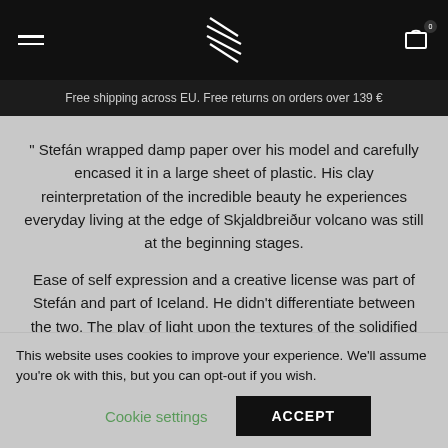Free shipping across EU. Free returns on orders over 139 €
" Stefán wrapped damp paper over his model and carefully encased it in a large sheet of plastic. His clay reinterpretation of the incredible beauty he experiences everyday living at the edge of Skjaldbreiður volcano was still at the beginning stages.
Ease of self expression and a creative license was part of Stefán and part of Iceland. He didn't differentiate between the two. The play of light upon the textures of the solidified lava, the stunning mountain views or the spectacular eruptions, this was what nourished his soul.
This website uses cookies to improve your experience. We'll assume you're ok with this, but you can opt-out if you wish.
Cookie settings   ACCEPT